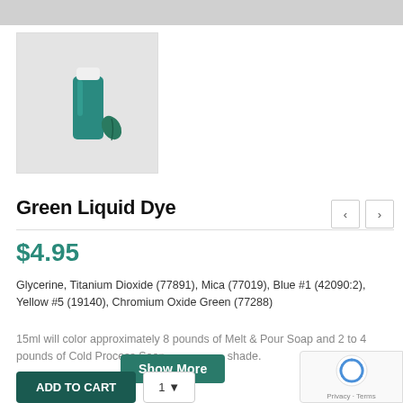[Figure (photo): A small teal/green liquid dye bottle with a white cap, with a small green leaf drop shown next to it, on a light gray background.]
Green Liquid Dye
$4.95
Glycerine, Titanium Dioxide (77891), Mica (77019), Blue #1 (42090:2), Yellow #5 (19140), Chromium Oxide Green (77288)
15ml will color approximately 8 pounds of Melt & Pour Soap and 2 to 4 pounds of Cold Process Soap shade.